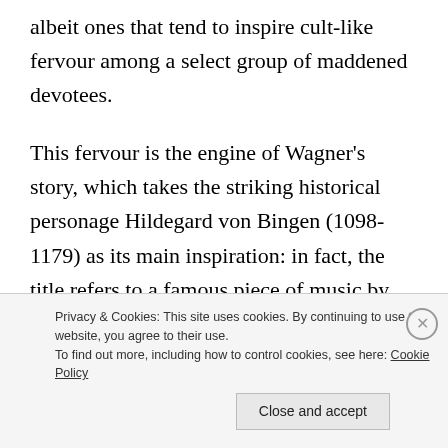albeit ones that tend to inspire cult-like fervour among a select group of maddened devotees.
This fervour is the engine of Wagner's story, which takes the striking historical personage Hildegard von Bingen (1098-1179) as its main inspiration: in fact, the title refers to a famous piece of music by this German Benedictine abbess — who apart from being a mystic and polymath was also a composer and
Privacy & Cookies: This site uses cookies. By continuing to use this website, you agree to their use. To find out more, including how to control cookies, see here: Cookie Policy